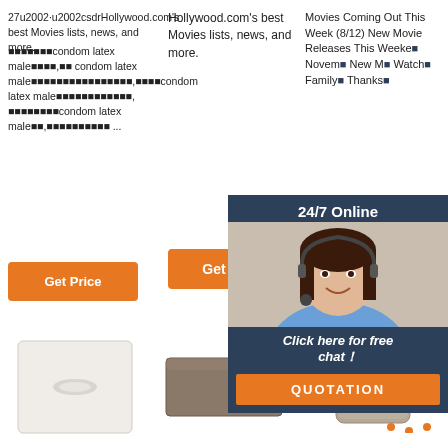27u2002·u2002csdrHollywood.com's best Movies lists, news, and more.
■■■■■■■condom latex male■■■■,■■ condom latex male■■■■■■■■■■■■■■■■,■■■■condom latex male■■■■■■■■■■■■, ■■■■■■■■condom latex male■■,■■■■■■■■■■ ...
Movies Coming Out This Week (8/12) New Movie Releases This Weekend November New Movies Watch with Family Thanks...
[Figure (other): Customer service agent photo with 24/7 Online header and chat overlay with QUOTATION button]
[Figure (other): White styrofoam bag product image]
[Figure (other): Grey brick block product image]
[Figure (other): Beige clay pot product image with TOP badge overlay]